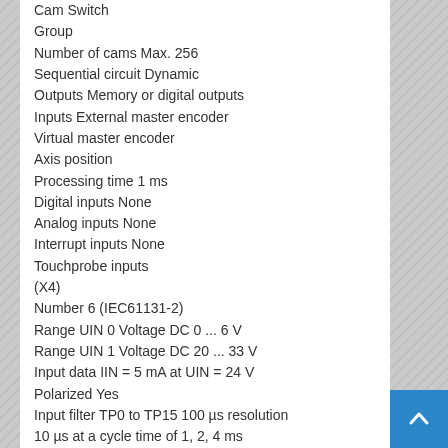Cam Switch
Group
Number of cams Max. 256
Sequential circuit Dynamic
Outputs Memory or digital outputs
Inputs External master encoder
Virtual master encoder
Axis position
Processing time 1 ms
Digital inputs None
Analog inputs None
Interrupt inputs None
Touchprobe inputs
(X4)
Number 6 (IEC61131-2)
Range UIN 0 Voltage DC 0 ... 6 V
Range UIN 1 Voltage DC 20 ... 33 V
Input data IIN = 5 mA at UIN = 24 V
Polarized Yes
Input filter TP0 to TP15 100 µs resolution
10 µs at a cycle time of 1, 2, 4 ms
Digital outputs None
Analog outputs None